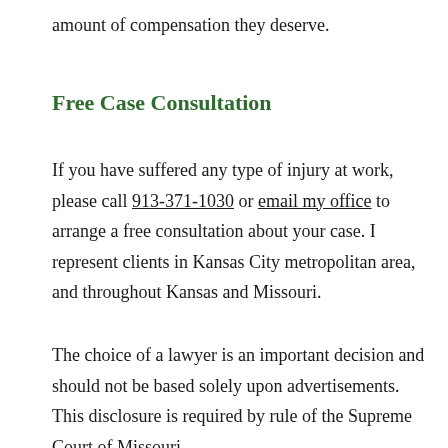amount of compensation they deserve.
Free Case Consultation
If you have suffered any type of injury at work, please call 913-371-1030 or email my office to arrange a free consultation about your case. I represent clients in Kansas City metropolitan area, and throughout Kansas and Missouri.
The choice of a lawyer is an important decision and should not be based solely upon advertisements. This disclosure is required by rule of the Supreme Court of Missouri.